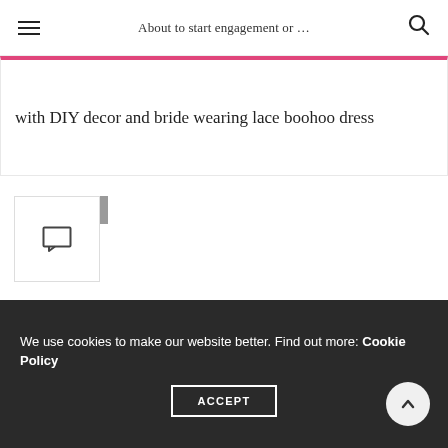About to start engagement or …
with DIY decor and bride wearing lace boohoo dress
0
You May Also Like
We use cookies to make our website better. Find out more: Cookie Policy
ACCEPT